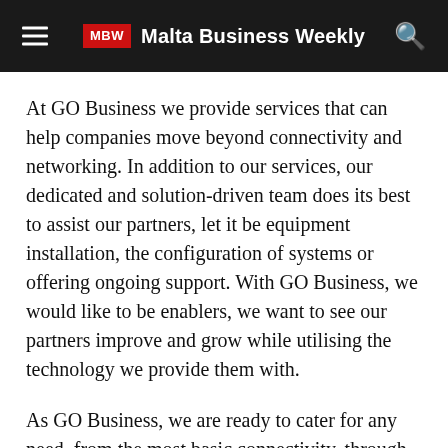MBW Malta Business Weekly
At GO Business we provide services that can help companies move beyond connectivity and networking. In addition to our services, our dedicated and solution-driven team does its best to assist our partners, let it be equipment installation, the configuration of systems or offering ongoing support. With GO Business, we would like to be enablers, we want to see our partners improve and grow while utilising the technology we provide them with.
As GO Business, we are ready to cater for any need, from the most basic connectivity, through wireless-based technologies, up to maintaining